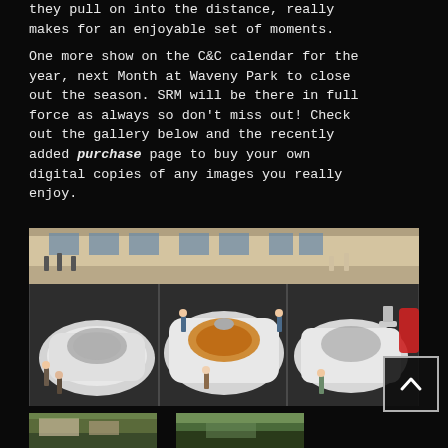they pull on into the distance, really makes for an enjoyable set of moments.

One more show on the C&C calendar for the year, next Month at Waveny Park to close out the season. SRM will be there in full force as always so don't miss out! Check out the gallery below and the recently added purchase page to buy your own digital copies of any images you really enjoy.
[Figure (photo): Aerial/overhead view of three white/silver supercars (including a Bugatti Veyron in the center) parked side by side in a parking lot at a Cars & Coffee event, with people standing around them.]
[Figure (photo): Partial thumbnail photo on the bottom left, appears to show cars at an outdoor event with trees.]
[Figure (photo): Partial thumbnail photo on the bottom right, appears to show cars at an outdoor event with trees.]